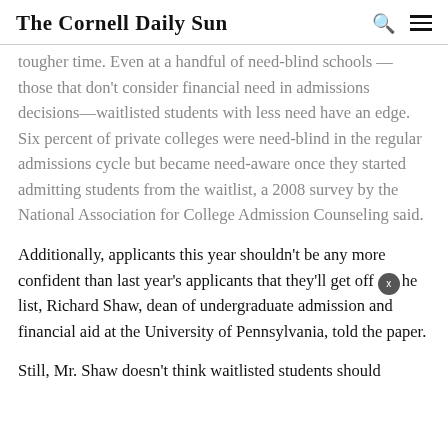The Cornell Daily Sun
tougher time. Even at a handful of need-blind schools — those that don't consider financial need in admissions decisions—waitlisted students with less need have an edge. Six percent of private colleges were need-blind in the regular admissions cycle but became need-aware once they started admitting students from the waitlist, a 2008 survey by the National Association for College Admission Counseling said.
Additionally, applicants this year shouldn't be any more confident than last year's applicants that they'll get off the list, Richard Shaw, dean of undergraduate admission and financial aid at the University of Pennsylvania, told the paper.
Still, Mr. Shaw doesn't think waitlisted students should